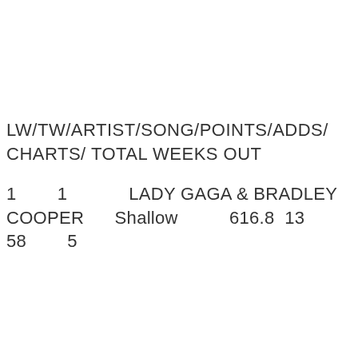LW/TW/ARTIST/SONG/POINTS/ADDS/CHARTS/ TOTAL WEEKS OUT
1    1    LADY GAGA & BRADLEY COOPER    Shallow    616.8  13  58    5